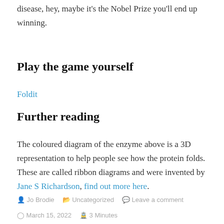disease, hey, maybe it's the Nobel Prize you'll end up winning.
Play the game yourself
Foldit
Further reading
The coloured diagram of the enzyme above is a 3D representation to help people see how the protein folds. These are called ribbon diagrams and were invented by Jane S Richardson, find out more here.
Jo Brodie   Uncategorized   Leave a comment   March 15, 2022   3 Minutes